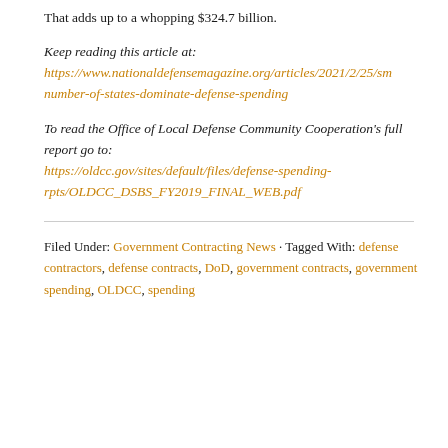That adds up to a whopping $324.7 billion.
Keep reading this article at: https://www.nationaldefensemagazine.org/articles/2021/2/25/sm number-of-states-dominate-defense-spending
To read the Office of Local Defense Community Cooperation's full report go to: https://oldcc.gov/sites/default/files/defense-spending-rpts/OLDCC_DSBS_FY2019_FINAL_WEB.pdf
Filed Under: Government Contracting News · Tagged With: defense contractors, defense contracts, DoD, government contracts, government spending, OLDCC, spending